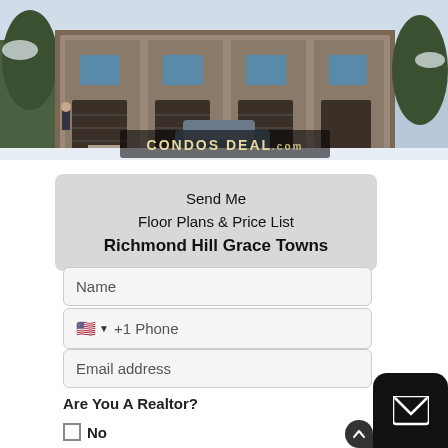[Figure (photo): Exterior rendering of Richmond Hill Grace Towns townhouses in winter, with CONDOS DEAL.com watermark overlay]
Send Me
Floor Plans & Price List
Richmond Hill Grace Towns
Name
🇺🇸 ▼ +1 Phone
Email address
Are You A Realtor?
☐ No